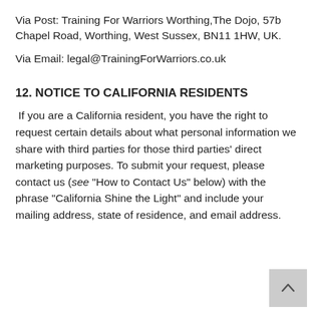Via Post: Training For Warriors Worthing,The Dojo, 57b Chapel Road, Worthing, West Sussex, BN11 1HW, UK.
Via Email: legal@TrainingForWarriors.co.uk
12. NOTICE TO CALIFORNIA RESIDENTS
If you are a California resident, you have the right to request certain details about what personal information we share with third parties for those third parties' direct marketing purposes. To submit your request, please contact us (see “How to Contact Us” below) with the phrase “California Shine the Light” and include your mailing address, state of residence, and email address.